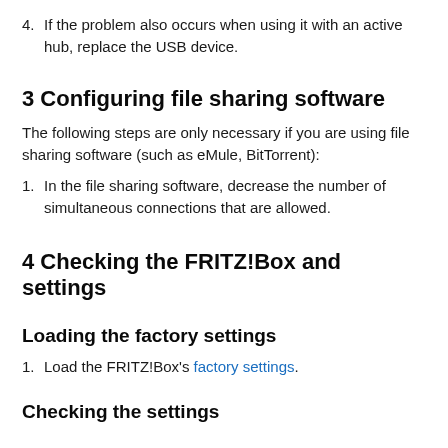4. If the problem also occurs when using it with an active hub, replace the USB device.
3 Configuring file sharing software
The following steps are only necessary if you are using file sharing software (such as eMule, BitTorrent):
1. In the file sharing software, decrease the number of simultaneous connections that are allowed.
4 Checking the FRITZ!Box and settings
Loading the factory settings
1. Load the FRITZ!Box's factory settings.
Checking the settings